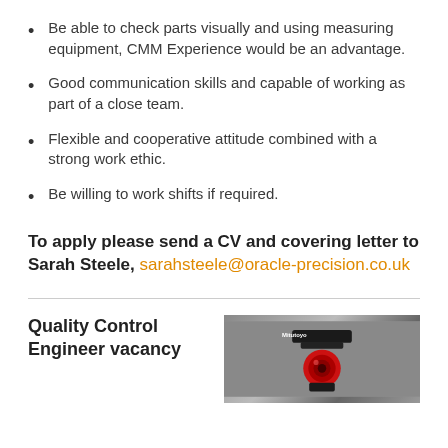Be able to check parts visually and using measuring equipment, CMM Experience would be an advantage.
Good communication skills and capable of working as part of a close team.
Flexible and cooperative attitude combined with a strong work ethic.
Be willing to work shifts if required.
To apply please send a CV and covering letter to Sarah Steele, sarahsteele@oracle-precision.co.uk
Quality Control Engineer vacancy
[Figure (photo): Photo of a Mitutoyo precision measurement instrument, red and black, on a grey background]